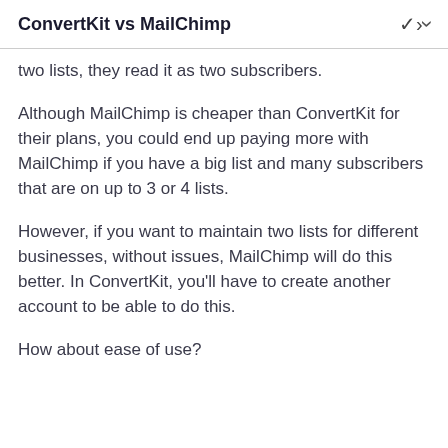ConvertKit vs MailChimp
two lists, they read it as two subscribers.
Although MailChimp is cheaper than ConvertKit for their plans, you could end up paying more with MailChimp if you have a big list and many subscribers that are on up to 3 or 4 lists.
However, if you want to maintain two lists for different businesses, without issues, MailChimp will do this better. In ConvertKit, you'll have to create another account to be able to do this.
How about ease of use?